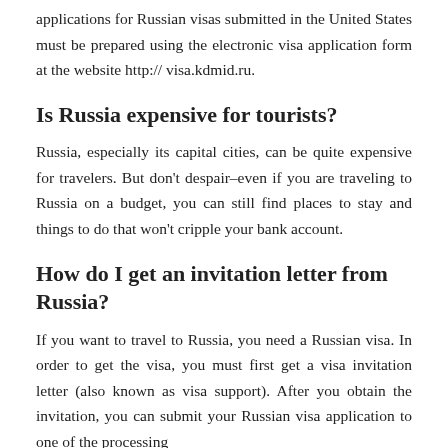applications for Russian visas submitted in the United States must be prepared using the electronic visa application form at the website http:// visa.kdmid.ru.
Is Russia expensive for tourists?
Russia, especially its capital cities, can be quite expensive for travelers. But don't despair–even if you are traveling to Russia on a budget, you can still find places to stay and things to do that won't cripple your bank account.
How do I get an invitation letter from Russia?
If you want to travel to Russia, you need a Russian visa. In order to get the visa, you must first get a visa invitation letter (also known as visa support). After you obtain the invitation, you can submit your Russian visa application to one of the processing